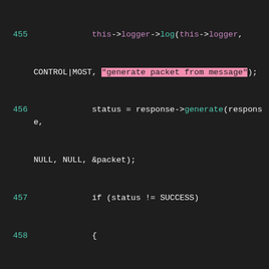[Figure (screenshot): Source code snippet in a dark-themed code editor showing C code lines 455–472 with syntax highlighting. String literals are highlighted in pink/magenta background. Line numbers are in teal. Keywords 'this' are in pink/magenta. Function names like log, generate, add, destroy are in teal.]